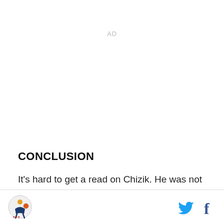AD
CONCLUSION
It's hard to get a read on Chizik. He was not as impressive as Dan Mullen at SEC Media Days, but he also wasn't a flop. That followed the pattern Chizik followed when he seemed to intentionally avoid the huge uproar that Kiffin produced at Tennessee to try to
Logo | Twitter | Facebook